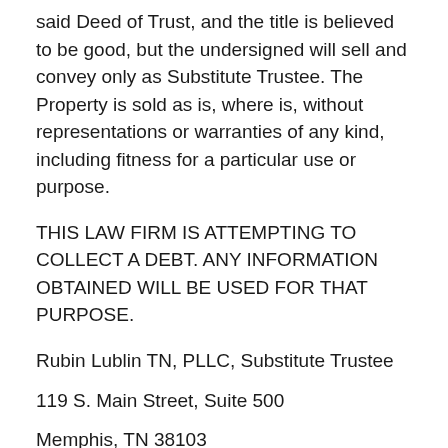said Deed of Trust, and the title is believed to be good, but the undersigned will sell and convey only as Substitute Trustee. The Property is sold as is, where is, without representations or warranties of any kind, including fitness for a particular use or purpose.
THIS LAW FIRM IS ATTEMPTING TO COLLECT A DEBT. ANY INFORMATION OBTAINED WILL BE USED FOR THAT PURPOSE.
Rubin Lublin TN, PLLC, Substitute Trustee
119 S. Main Street, Suite 500
Memphis, TN 38103
rubinlublin.com/property-listing
Tel: (877) 813-0992Fax: (404) 601-5846